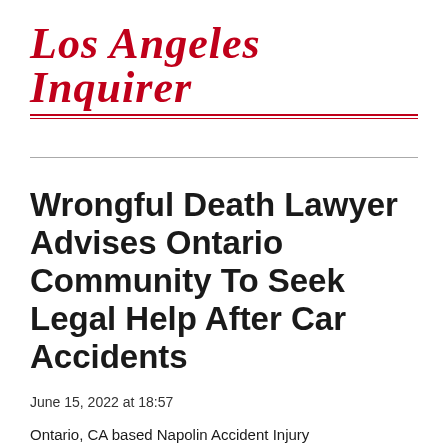Los Angeles Inquirer
Wrongful Death Lawyer Advises Ontario Community To Seek Legal Help After Car Accidents
June 15, 2022 at 18:57
Ontario, CA based Napolin Accident Injury